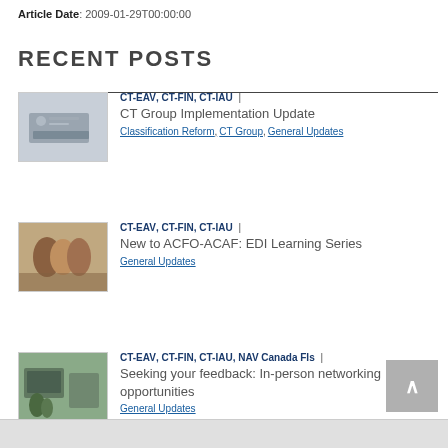Article Date: 2009-01-29T00:00:00
RECENT POSTS
[Figure (photo): Hands typing on a laptop keyboard]
CT-EAV, CT-FIN, CT-IAU | CT Group Implementation Update
Classification Reform, CT Group, General Updates
[Figure (photo): Group of people having a meeting around a table]
CT-EAV, CT-FIN, CT-IAU | New to ACFO-ACAF: EDI Learning Series
General Updates
[Figure (photo): Office with laptop and plants near window]
CT-EAV, CT-FIN, CT-IAU, NAV Canada FIs | Seeking your feedback: In-person networking opportunities
General Updates